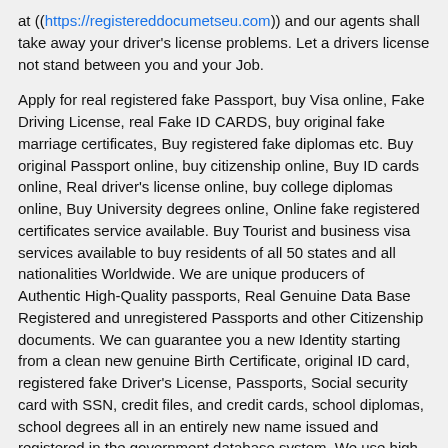at ((https://registereddocumetseu.com)) and our agents shall take away your driver's license problems. Let a drivers license not stand between you and your Job.

Apply for real registered fake Passport, buy Visa online, Fake Driving License, real Fake ID CARDS, buy original fake marriage certificates, Buy registered fake diplomas etc. Buy original Passport online, buy citizenship online, Buy ID cards online, Real driver's license online, buy college diplomas online, Buy University degrees online, Online fake registered certificates service available. Buy Tourist and business visa services available to buy residents of all 50 states and all nationalities Worldwide. We are unique producers of Authentic High-Quality passports, Real Genuine Data Base Registered and unregistered Passports and other Citizenship documents. We can guarantee you a new Identity starting from a clean new genuine Birth Certificate, original ID card, registered fake Driver's License, Passports, Social security card with SSN, credit files, and credit cards, school diplomas, school degrees all in an entirely new name issued and registered in the government database system. We use high quality equipment and materials to produce authentic and counterfeit documents. All secret features of real passports are carefully duplicated for our Registered and unregistered documents. We are unique producer of quality false and Real documents. We offer only original high-quality Registered and unregistered passports, driver's licenses, ID cards, stamps